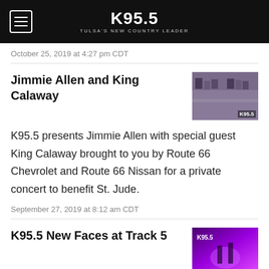K95.5 TULSA'S NEW COUNTRY LEADER
October 25, 2019 at 4:27 pm CDT
Jimmie Allen and King Calaway
[Figure (photo): Group photo of Jimmie Allen and King Calaway with fans in front of a K95.5 branded backdrop]
K95.5 presents Jimmie Allen with special guest King Calaway brought to you by Route 66 Chevrolet and Route 66 Nissan for a private concert to benefit St. Jude.
September 27, 2019 at 8:12 am CDT
K95.5 New Faces at Track 5
[Figure (photo): Concert photo with purple stage lighting and K95.5 logo overlay]